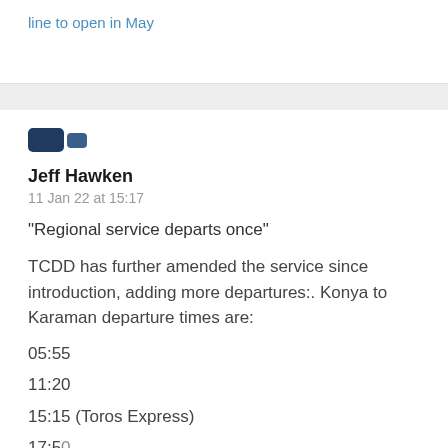line to open in May
Jeff Hawken
11 Jan 22 at 15:17
“Regional service departs once”
TCDD has further amended the service since introduction, adding more departures:. Konya to Karaman departure times are:
05:55
11:20
15:15 (Toros Express)
17:50